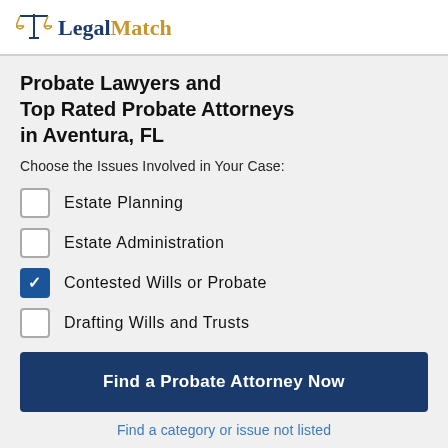LegalMatch
Probate Lawyers and Top Rated Probate Attorneys in Aventura, FL
Choose the Issues Involved in Your Case:
Estate Planning (unchecked)
Estate Administration (unchecked)
Contested Wills or Probate (checked)
Drafting Wills and Trusts (unchecked)
Find a Probate Attorney Now
Find a category or issue not listed